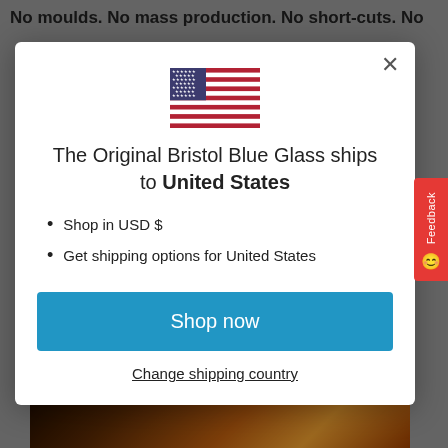No moulds. No mass production. No short-cuts. No
[Figure (screenshot): Modal dialog showing US flag and shipping information for Bristol Blue Glass to United States]
The Original Bristol Blue Glass ships to United States
Shop in USD $
Get shipping options for United States
Shop now
Change shipping country